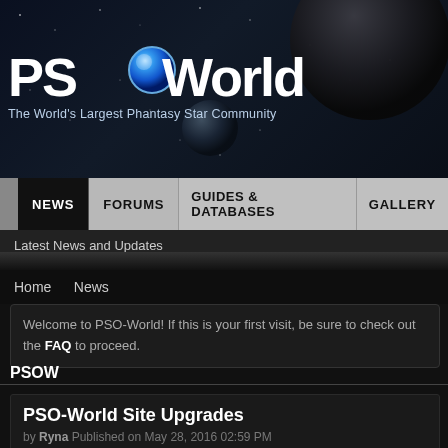[Figure (screenshot): PSO-World website header banner with space background showing planets and star field]
PSOWorld - The World's Largest Phantasy Star Community
NEWS | FORUMS | GUIDES & DATABASES | GALLERY
Latest News and Updates
Home   News
Welcome to PSO-World! If this is your first visit, be sure to check out the FAQ to proceed.
PSOW
PSO-World Site Upgrades
by Ryna Published on May 28, 2016 02:59 PM